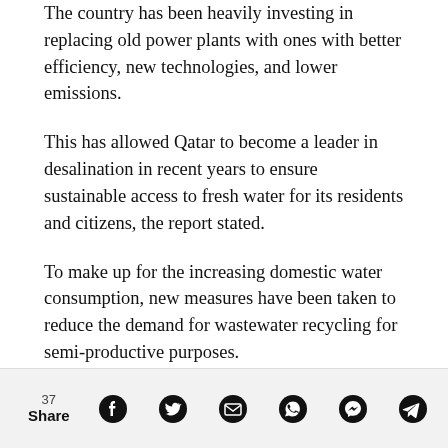The country has been heavily investing in replacing old power plants with ones with better efficiency, new technologies, and lower emissions.
This has allowed Qatar to become a leader in desalination in recent years to ensure sustainable access to fresh water for its residents and citizens, the report stated.
To make up for the increasing domestic water consumption, new measures have been taken to reduce the demand for wastewater recycling for semi-productive purposes.
37 Share [social share icons: Facebook, Twitter, Email, WhatsApp, Messenger, Telegram]